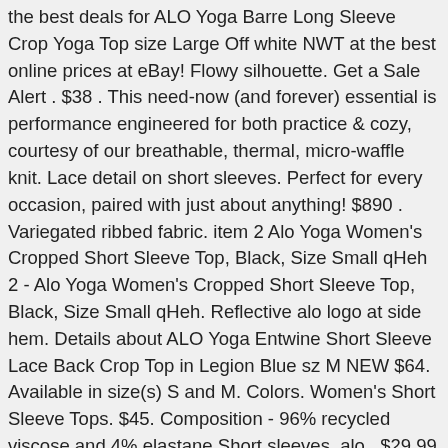the best deals for ALO Yoga Barre Long Sleeve Crop Yoga Top size Large Off white NWT at the best online prices at eBay! Flowy silhouette. Get a Sale Alert . $38 . This need-now (and forever) essential is performance engineered for both practice & cozy, courtesy of our breathable, thermal, micro-waffle knit. Lace detail on short sleeves. Perfect for every occasion, paired with just about anything! $890 . Variegated ribbed fabric. item 2 Alo Yoga Women's Cropped Short Sleeve Top, Black, Size Small qHeh 2 - Alo Yoga Women's Cropped Short Sleeve Top, Black, Size Small qHeh. Reflective alo logo at side hem. Details about ALO Yoga Entwine Short Sleeve Lace Back Crop Top in Legion Blue sz M NEW $64. Available in size(s) S and M. Colors. Women's Short Sleeve Tops. $45. Composition - 96% recycled viscose and 4% elastane Short sleeves. alo.. $29.99 + shipping . Meet the Cropped Short Sleeve Top: a soft jersey tee with a crew neck, extreme crop silhouette and raw hem and sleeves. AU $68.82. Missguided Petite basic crop top with funnel neck in black. - size L (also in M, S) 50% poly 25% cotton 25% rayon. 21 Sequined Cropped Short-Sleeve Top Details No. $34.00